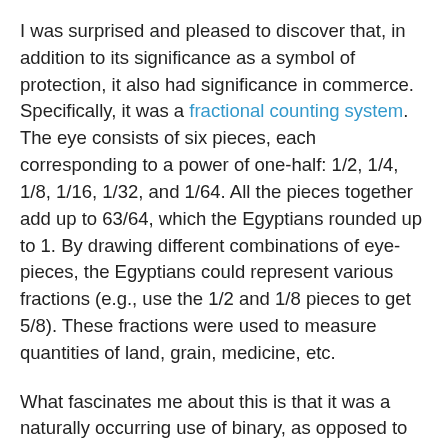I was surprised and pleased to discover that, in addition to its significance as a symbol of protection, it also had significance in commerce. Specifically, it was a fractional counting system. The eye consists of six pieces, each corresponding to a power of one-half: 1/2, 1/4, 1/8, 1/16, 1/32, and 1/64. All the pieces together add up to 63/64, which the Egyptians rounded up to 1. By drawing different combinations of eye-pieces, the Egyptians could represent various fractions (e.g., use the 1/2 and 1/8 pieces to get 5/8). These fractions were used to measure quantities of land, grain, medicine, etc.
What fascinates me about this is that it was a naturally occurring use of binary, as opposed to decimal, counting. And the Egyptians are not alone in having used such a binary system. The phrase “two bits” for one-quarter of a dollar, for instance, originated in the division of gold dollars into eight pieces; two “pieces of eight” (another old phrase indicative of the binary counting system) equal one quarter.
There’s also a great practical reason for dividing things in a binary fashion; it requires less reference to standardized